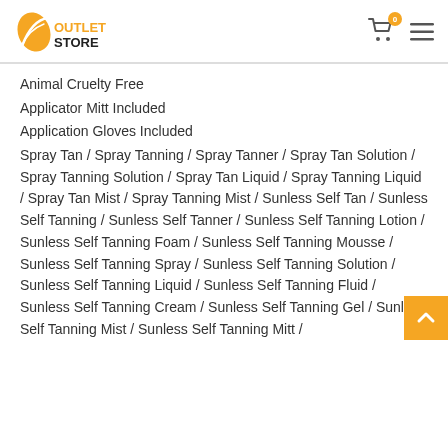OUTLET STORE
Animal Cruelty Free
Applicator Mitt Included
Application Gloves Included
Spray Tan / Spray Tanning / Spray Tanner / Spray Tan Solution / Spray Tanning Solution / Spray Tan Liquid / Spray Tanning Liquid / Spray Tan Mist / Spray Tanning Mist / Sunless Self Tan / Sunless Self Tanning / Sunless Self Tanner / Sunless Self Tanning Lotion / Sunless Self Tanning Foam / Sunless Self Tanning Mousse / Sunless Self Tanning Spray / Sunless Self Tanning Solution / Sunless Self Tanning Liquid / Sunless Self Tanning Fluid / Sunless Self Tanning Cream / Sunless Self Tanning Gel / Sunless Self Tanning Mist / Sunless Self Tanning Mitt /